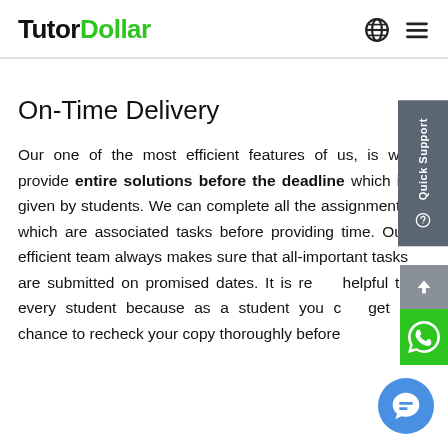TutorDollar
On-Time Delivery
Our one of the most efficient features of us, is we provide entire solutions before the deadline which is given by students. We can complete all the assignments which are associated tasks before providing time. Our efficient team always makes sure that all-important tasks are submitted on promised dates. It is really helpful to every student because as a student you can get a chance to recheck your copy thoroughly before